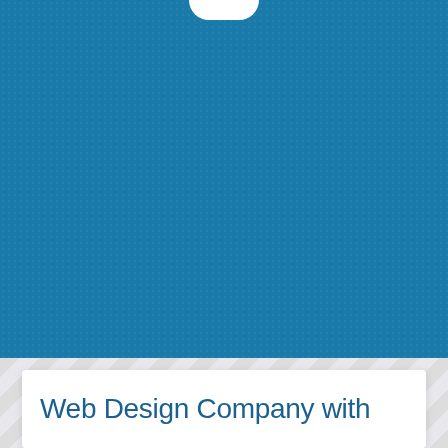[Figure (illustration): Large blue textured background panel with a white notch/tab at the top center, resembling a smartphone or device interface mockup]
Web Design Company with